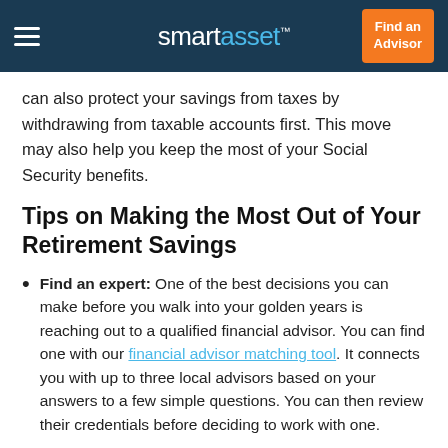SmartAsset — Find an Advisor
can also protect your savings from taxes by withdrawing from taxable accounts first. This move may also help you keep the most of your Social Security benefits.
Tips on Making the Most Out of Your Retirement Savings
Find an expert: One of the best decisions you can make before you walk into your golden years is reaching out to a qualified financial advisor. You can find one with our financial advisor matching tool. It connects you with up to three local advisors based on your answers to a few simple questions. You can then review their credentials before deciding to work with one.
Government money: Don't forget about Social Security,